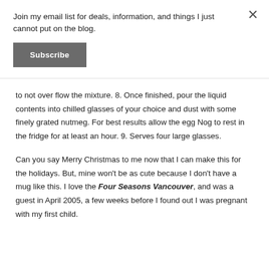Join my email list for deals, information, and things I just cannot put on the blog.
Subscribe
to not over flow the mixture. 8. Once finished, pour the liquid contents into chilled glasses of your choice and dust with some finely grated nutmeg. For best results allow the egg Nog to rest in the fridge for at least an hour. 9. Serves four large glasses.
Can you say Merry Christmas to me now that I can make this for the holidays. But, mine won't be as cute because I don't have a mug like this. I love the Four Seasons Vancouver, and was a guest in April 2005, a few weeks before I found out I was pregnant with my first child.